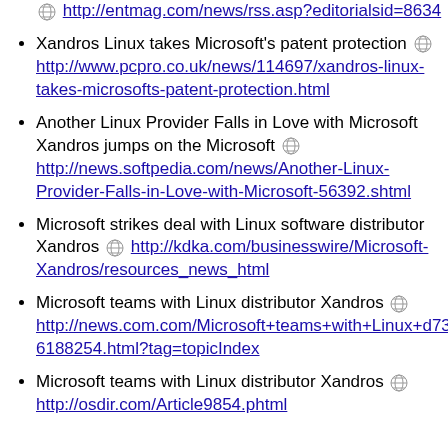http://entmag.com/news/rss.asp?editorialsid=8634
Xandros Linux takes Microsoft's patent protection http://www.pcpro.co.uk/news/114697/xandros-linux-takes-microsofts-patent-protection.html
Another Linux Provider Falls in Love with Microsoft Xandros jumps on the Microsoft http://news.softpedia.com/news/Another-Linux-Provider-Falls-in-Love-with-Microsoft-56392.shtml
Microsoft strikes deal with Linux software distributor Xandros http://kdka.com/businesswire/Microsoft-Xandros/resources_news_html
Microsoft teams with Linux distributor Xandros http://news.com.com/Microsoft+teams+with+Linux+d7344_3-6188254.html?tag=topicIndex
Microsoft teams with Linux distributor Xandros http://osdir.com/Article9854.phtml